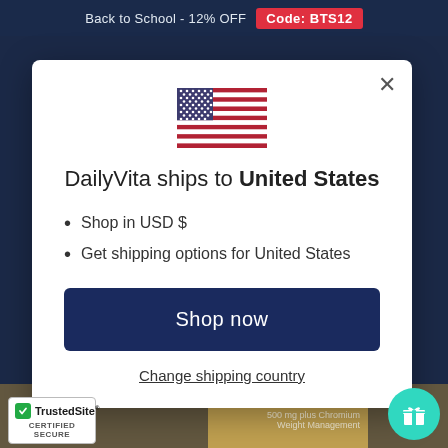Back to School - 12% OFF  Code: BTS12
[Figure (screenshot): US flag icon shown at center top of modal]
DailyVita ships to United States
Shop in USD $
Get shipping options for United States
Shop now
Change shipping country
[Figure (logo): TrustedSite Certified Secure badge]
[Figure (photo): Chitosan 500 mg plus Chromium Weight Management product partial view]